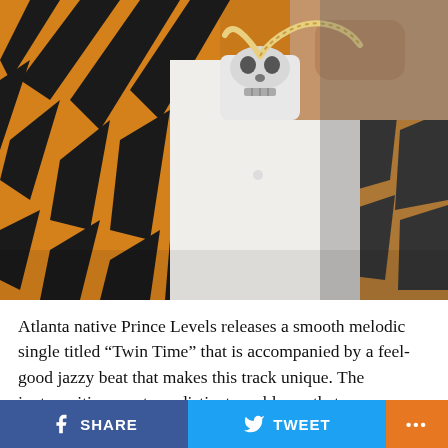[Figure (photo): Close-up photo of a person wearing a tiger-stripe orange and black jacket and a white shirt, holding up a large diamond/crystal skull pendant necklace with a rope chain. The background is light/white.]
Atlanta native Prince Levels releases a smooth melodic single titled “Twin Time” that is accompanied by a feel-good jazzy beat that makes this track unique. The juxtaposition creates a distinct semblance that procures listeners to relax with each listen.
Before this night became one of the most penetrating single...